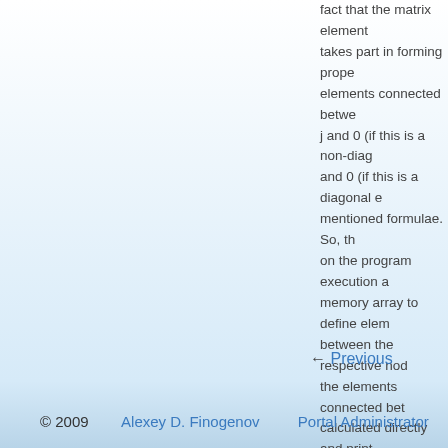fact that the matrix element takes part in forming proper elements connected between j and 0 (if this is a non-diagonal) and 0 (if this is a diagonal element) mentioned formulae. So, the on the program execution a memory array to define elements between the respective nodes the elements connected between calculated directly and printed. Elements connected between ground are printed out at the description. If the obtained equal to zero, it means that element between this node names of files with the source circuit description being formed parameters on the program default file names are using
← Previous
© 2009   Alexey D. Finogenov   Portal Administrator